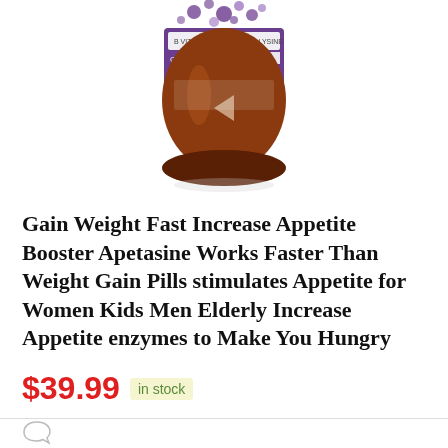[Figure (photo): Product photo of a purple and brown glass bottle with grape flavor supplement label reading 'B VITAMINS | FGH OIL | L-LYSINE, GRAPE FLAVOR, 8oz' with purple dot decorations on top]
Gain Weight Fast Increase Appetite Booster Apetasine Works Faster Than Weight Gain Pills stimulates Appetite for Women Kids Men Elderly Increase Appetite enzymes to Make You Hungry
$39.99  in stock
Leave a Comment